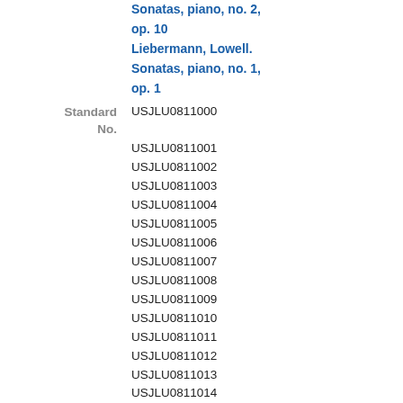Sonatas, piano, no. 2, op. 10
Liebermann, Lowell. Sonatas, piano, no. 1, op. 1
Standard No.
USJLU0811000
USJLU0811001
USJLU0811002
USJLU0811003
USJLU0811004
USJLU0811005
USJLU0811006
USJLU0811007
USJLU0811008
USJLU0811009
USJLU0811010
USJLU0811011
USJLU0811012
USJLU0811013
USJLU0811014
USJLU0811015
USJLU0811016
USJLU0811017
Music No.
CAMCD-1094 Naxos Digital Services/Cambria
---------------------------------------------------